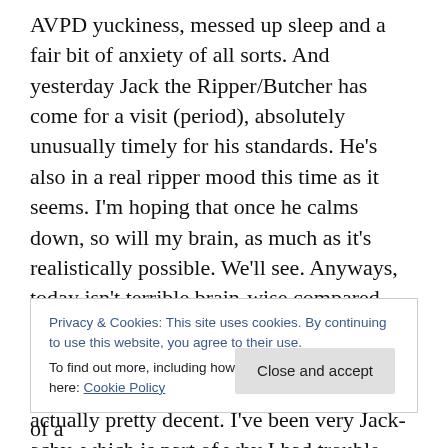AVPD yuckiness, messed up sleep and a fair bit of anxiety of all sorts. And yesterday Jack the Ripper/Butcher has come for a visit (period), absolutely unusually timely for his standards. He's also in a real ripper mood this time as it seems. I'm hoping that once he calms down, so will my brain, as much as it's realistically possible. We'll see. Anyways, today isn't terrible brain-wise compared with the average over the last few weeks, and taking into account that I have only slept two hours last night I guess it's actually pretty decent. I've been very Jack-achy, which is part of why I had trouble sleeping despite the painkillers, but partly it's simply
Privacy & Cookies: This site uses cookies. By continuing to use this website, you agree to their use.
To find out more, including how to control cookies, see here: Cookie Policy
with Misha. The Jack did me actually a bit of a